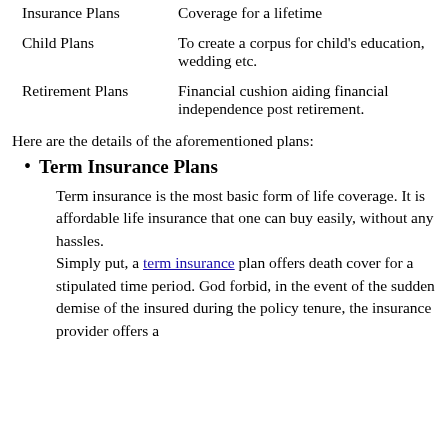| Insurance Plans | Coverage for a lifetime |
| Child Plans | To create a corpus for child's education, wedding etc. |
| Retirement Plans | Financial cushion aiding financial independence post retirement. |
Here are the details of the aforementioned plans:
Term Insurance Plans
Term insurance is the most basic form of life coverage. It is affordable life insurance that one can buy easily, without any hassles.
Simply put, a term insurance plan offers death cover for a stipulated time period. God forbid, in the event of the sudden demise of the insured during the policy tenure, the insurance provider offers a